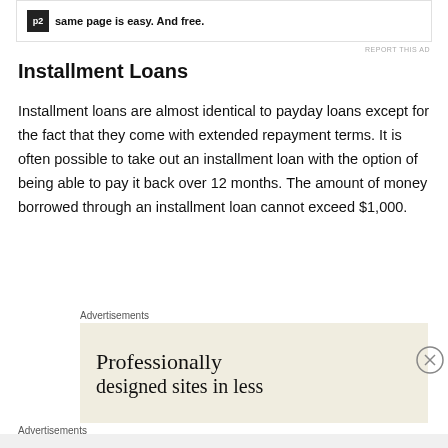[Figure (other): Advertisement banner at top with p2 logo icon and text 'same page is easy. And free.']
REPORT THIS AD
Installment Loans
Installment loans are almost identical to payday loans except for the fact that they come with extended repayment terms. It is often possible to take out an installment loan with the option of being able to pay it back over 12 months. The amount of money borrowed through an installment loan cannot exceed $1,000.
Advertisements
[Figure (other): Advertisement block with beige/cream background showing text 'Professionally designed sites in less']
Advertisements